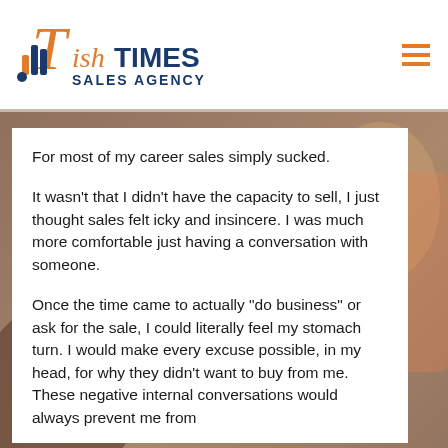[Figure (logo): Tish Times Sales Agency logo with orange and navy blue typography]
[Figure (photo): Background photo showing people in a warm-toned indoor setting]
For most of my career sales simply sucked.
It wasn’t that I didn’t have the capacity to sell, I just thought sales felt icky and insincere. I was much more comfortable just having a conversation with someone.
Once the time came to actually “do business” or ask for the sale, I could literally feel my stomach turn. I would make every excuse possible, in my head, for why they didn’t want to buy from me. These negative internal conversations would always prevent me from